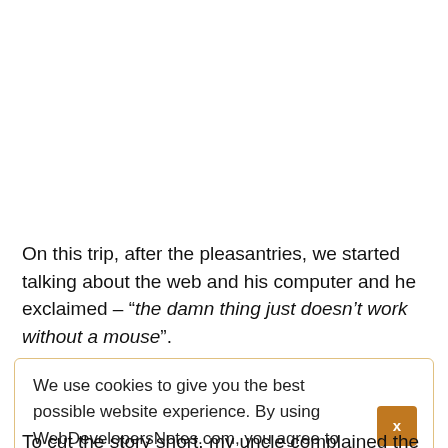On this trip, after the pleasantries, we started talking about the web and his computer and he exclaimed – "the damn thing just doesn't work without a mouse".
We use cookies to give you the best possible website experience. By using WebDevelopersNotes.com, you agree to our Privacy Policy
To cut the story short, my uncle complained the